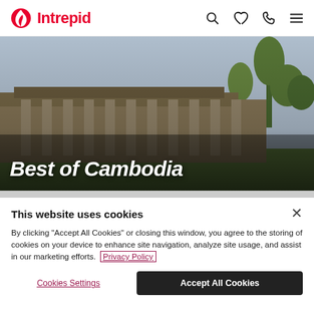Intrepid
[Figure (photo): Hero image of Angkor Wat temple complex in Cambodia with stone columns and green trees in background]
Best of Cambodia
This website uses cookies
By clicking "Accept All Cookies" or closing this window, you agree to the storing of cookies on your device to enhance site navigation, analyze site usage, and assist in our marketing efforts. Privacy Policy
Cookies Settings
Accept All Cookies